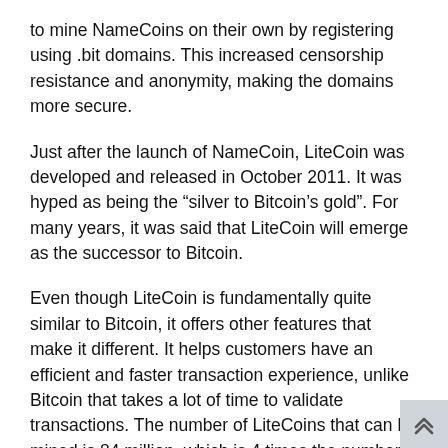to mine NameCoins on their own by registering using .bit domains. This increased censorship resistance and anonymity, making the domains more secure.
Just after the launch of NameCoin, LiteCoin was developed and released in October 2011. It was hyped as being the “silver to Bitcoin’s gold”. For many years, it was said that LiteCoin will emerge as the successor to Bitcoin.
Even though LiteCoin is fundamentally quite similar to Bitcoin, it offers other features that make it different. It helps customers have an efficient and faster transaction experience, unlike Bitcoin that takes a lot of time to validate transactions. The number of LiteCoins that can be mined is 84 million, which is 4 times the number of Bitcoin.